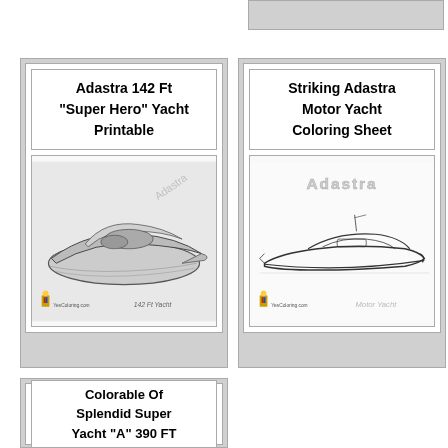[Figure (illustration): Partial card visible at top right of page]
Adastra 142 Ft "Super Hero" Yacht Printable
[Figure (illustration): Black and white coloring page illustration of Adastra 142 Ft Yacht, pencil sketch style with YesColoring.com branding]
Striking Adastra Motor Yacht Coloring Sheet
[Figure (illustration): Black and white coloring page outline of Adastra Motor Yacht with Adastra logo text and Motor Yacht label, YesColoring.com branding]
Colorable Of Splendid Super Yacht "A" 390 FT